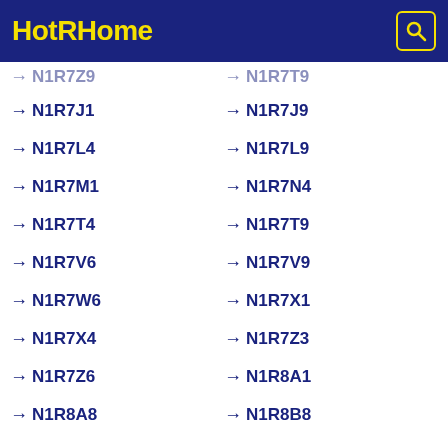HotRHome
N1R7J1
N1R7J9
N1R7L4
N1R7L9
N1R7M1
N1R7N4
N1R7T4
N1R7T9
N1R7V6
N1R7V9
N1R7W6
N1R7X1
N1R7X4
N1R7Z3
N1R7Z6
N1R8A1
N1R8A8
N1R8B8